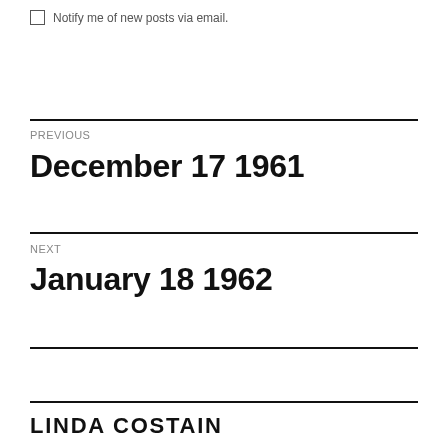Notify me of new posts via email.
PREVIOUS
December 17 1961
NEXT
January 18 1962
LINDA COSTAIN